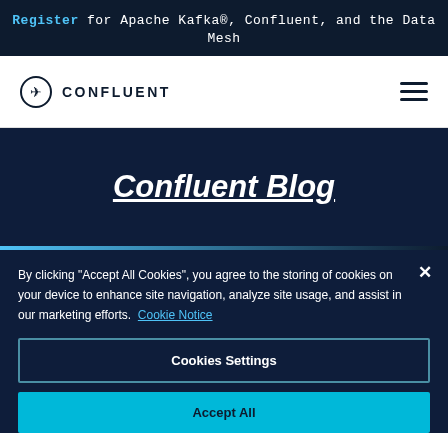Register for Apache Kafka®, Confluent, and the Data Mesh
[Figure (logo): Confluent logo with compass icon and text CONFLUENT, plus hamburger menu icon]
Confluent Blog
By clicking "Accept All Cookies", you agree to the storing of cookies on your device to enhance site navigation, analyze site usage, and assist in our marketing efforts. Cookie Notice
Cookies Settings
Accept All